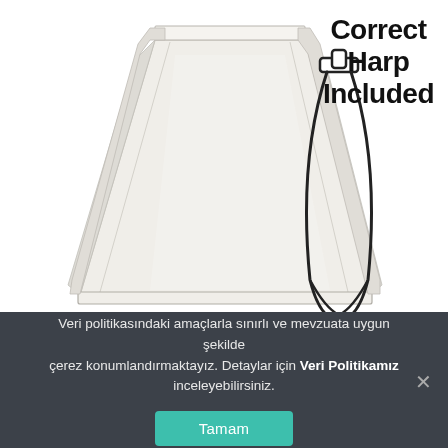[Figure (photo): A white fabric lamp shade with cut-corner rectangular shape, shown next to a line drawing illustration of a harp lamp hardware component. Text 'Correct Harp Included' appears in bold black to the upper right.]
Veri politikasındaki amaçlarla sınırlı ve mevzuata uygun şekilde çerez konumlandırmaktayız. Detaylar için Veri Politikamız inceleyebilirsiniz.
Tamam